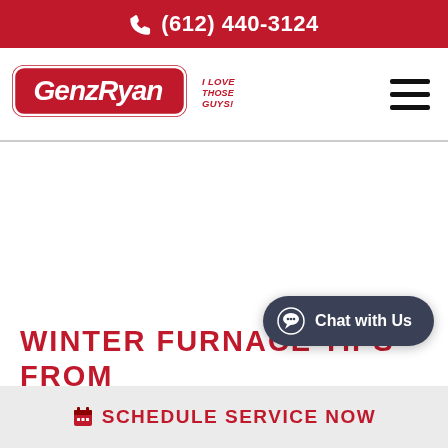(612) 440-3124
[Figure (logo): Genz-Ryan logo with tagline 'I Love Those Guys!']
WINTER FURNACE TIPS FROM JON RYAN
Chat with Us
SCHEDULE SERVICE NOW